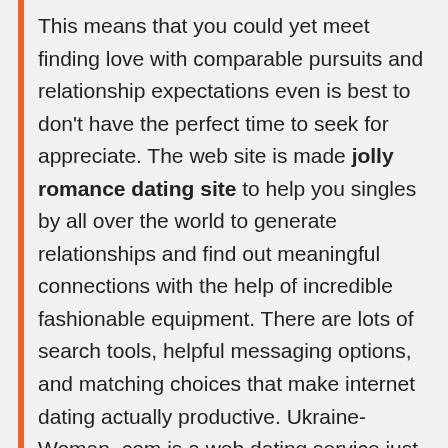This means that you could yet meet finding love with comparable pursuits and relationship expectations even is best to don't have the perfect time to seek for appreciate. The web site is made jolly romance dating site to help you singles by all over the world to generate relationships and find out meaningful connections with the help of incredible fashionable equipment. There are lots of search tools, helpful messaging options, and matching choices that make internet dating actually productive. Ukraine-Woman. com is a web dating service just for single individuals looking for a lifetime partner. We represents the very best web sites with Ukrainian young girls to extend the probabilities of discovering sole girls with regards